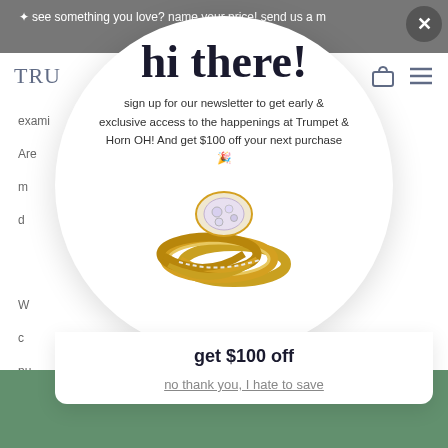✦ see something you love? name your price! send us a m… …offer ✦
[Figure (screenshot): Website navigation bar with logo 'TRUMP' partially visible and shopping bag and hamburger menu icons]
exami… …est. Are m… d…
W… c… pu… colle…
1. Marcu…
[Figure (photo): Modal popup overlay on a jewelry website with circular white background showing gold diamond rings, text 'hi there!', newsletter signup message, get $100 off button, and dismiss link]
hi there!
sign up for our newsletter to get early & exclusive access to the happenings at Trumpet & Horn OH! And get $100 off your next purchase 🎉
get $100 off
no thank you, I hate to save
[Figure (photo): Green jewelry item partially visible at bottom of page]